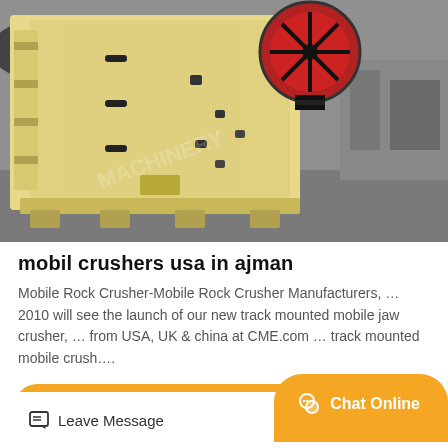[Figure (photo): A yellow industrial jaw crusher machine sitting on a factory floor, photographed from the front-left angle. The machine has a large red flywheel on the right side. Background is a grey industrial facility.]
mobil crushers usa in ajman
Mobile Rock Crusher-Mobile Rock Crusher Manufacturers, … 2010 will see the launch of our new track mounted mobile jaw crusher, … from USA, UK & china at CME.com … track mounted mobile crush….
GET PRICE
Leave Message
Chat Online